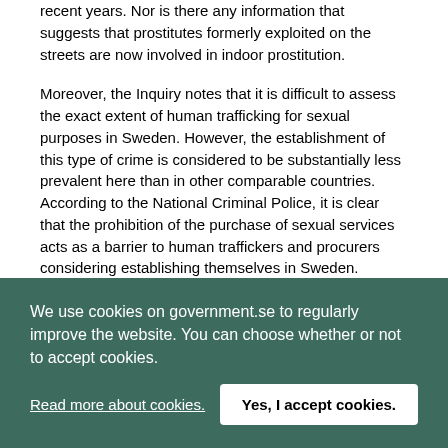recent years. Nor is there any information that suggests that prostitutes formerly exploited on the streets are now involved in indoor prostitution.
Moreover, the Inquiry notes that it is difficult to assess the exact extent of human trafficking for sexual purposes in Sweden. However, the establishment of this type of crime is considered to be substantially less prevalent here than in other comparable countries. According to the National Criminal Police, it is clear that the prohibition of the purchase of sexual services acts as a barrier to human traffickers and procurers considering establishing themselves in Sweden.
The Inquiry thus shows that the criminalisation of the purchase of sexual services has helped to combat prostitution and human trafficking for sexual purposes.
We use cookies on government.se to regularly improve the website. You can choose whether or not to accept cookies.
Read more about cookies.
Yes, I accept cookies.